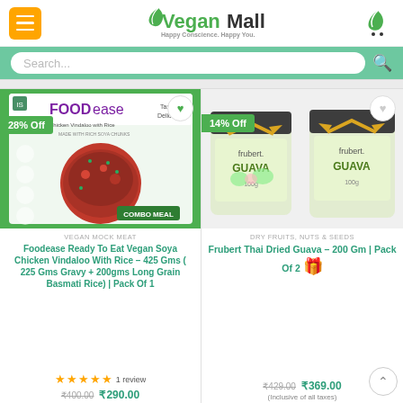VeganMall - Happy Conscience. Happy You.
Search...
[Figure (photo): Foodease Chicken Vindaloo with Rice product packaging - combo meal with vegan soya chunks, 28% Off badge]
VEGAN MOCK MEAT
Foodease Ready To Eat Vegan Soya Chicken Vindaloo With Rice – 425 Gms ( 225 Gms Gravy + 200gms Long Grain Basmati Rice) | Pack Of 1
1 review
₹400.00  ₹290.00
[Figure (photo): Frubert Thai Dried Guava jars - two 100g glass jars with gold ribbons, 14% Off badge]
DRY FRUITS, NUTS & SEEDS
Frubert Thai Dried Guava – 200 Gm | Pack Of 2
₹429.00  ₹369.00
(Inclusive of all taxes)